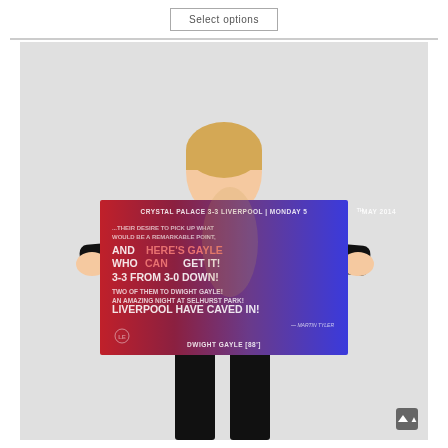Select options
[Figure (photo): Woman holding a horizontal poster showing Crystal Palace 3-3 Liverpool match artwork. The poster has a red-to-blue gradient background with a footballer image (Dwight Gayle) and a commentary quote. Text on poster reads: CRYSTAL PALACE 3-3 LIVERPOOL | MONDAY 5TH MAY 2014. ...THEIR DESIRE TO PICK UP WHAT WOULD BE A REMARKABLE POINT, AND HERE'S GAYLE WHO CAN GET IT! 3-3 FROM 3-0 DOWN! TWO OF THEM TO DWIGHT GAYLE! AN AMAZING NIGHT AT SELHURST PARK! LIVERPOOL HAVE CAVED IN! - MARTIN TYLER. DWIGHT GAYLE [88']]